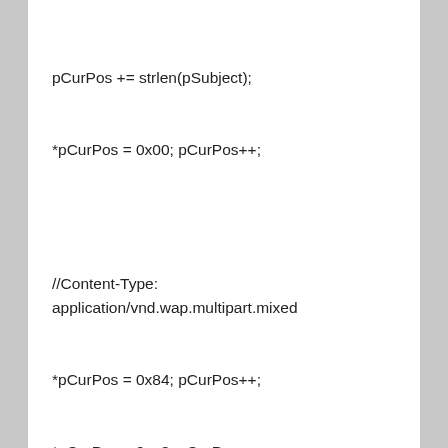pCurPos += strlen(pSubject);
*pCurPos = 0x00; pCurPos++;

//Content-Type: application/vnd.wap.multipart.mixed
*pCurPos = 0x84; pCurPos++;
*pCurPos = 0xa3; pCurPos++;

//multipart,count
*pCurPos = 0x01; pCurPos++;

//headerslen
*pCurPos = 0x0f; pCurPos++;

//附件内容
char* pAttachData = NULL;
String_WCharToMByte( szXmlData, &pAttachData
);